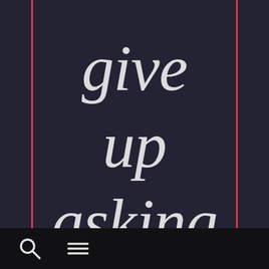give up asking
[Figure (other): Bottom navigation bar with search and hamburger menu icons on dark background]